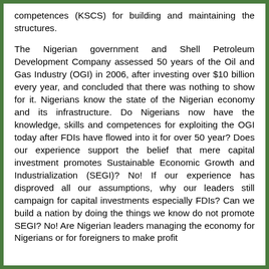competences (KSCS) for building and maintaining the structures.
The Nigerian government and Shell Petroleum Development Company assessed 50 years of the Oil and Gas Industry (OGI) in 2006, after investing over $10 billion every year, and concluded that there was nothing to show for it. Nigerians know the state of the Nigerian economy and its infrastructure. Do Nigerians now have the knowledge, skills and competences for exploiting the OGI today after FDIs have flowed into it for over 50 year? Does our experience support the belief that mere capital investment promotes Sustainable Economic Growth and Industrialization (SEGI)? No! If our experience has disproved all our assumptions, why our leaders still campaign for capital investments especially FDIs? Can we build a nation by doing the things we know do not promote SEGI? No! Are Nigerian leaders managing the economy for Nigerians or for foreigners to make profit